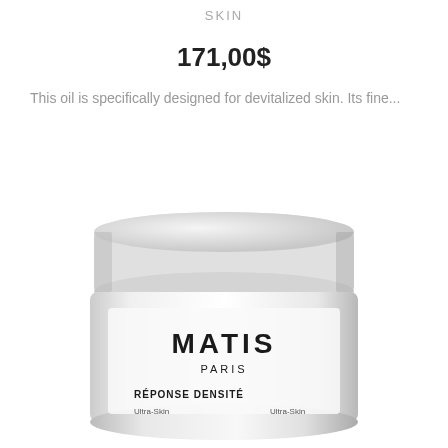SKIN
171,00$
This oil is specifically designed for devitalized skin. Its fine...
[Figure (photo): White cosmetic jar/cream pot with lid, branded MATIS PARIS, RÉPONSE DENSITÉ, Ultra-Skin label visible on the lower portion of the jar. The jar is white with a rounded profile, photographed on a white background.]